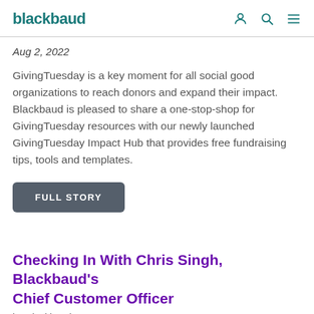blackbaud
Aug 2, 2022
GivingTuesday is a key moment for all social good organizations to reach donors and expand their impact. Blackbaud is pleased to share a one-stop-shop for GivingTuesday resources with our newly launched GivingTuesday Impact Hub that provides free fundraising tips, tools and templates.
FULL STORY
Checking In With Chris Singh, Blackbaud's Chief Customer Officer
by Blackbaud